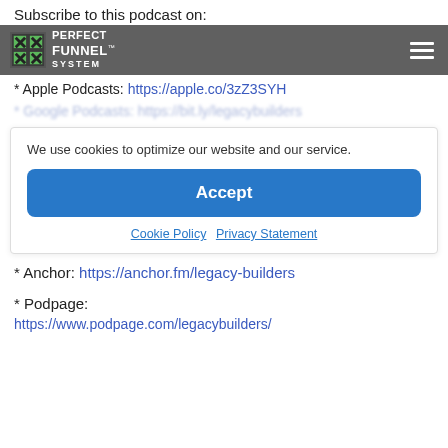Subscribe to this podcast on:
Perfect Funnel System logo and navigation
* Apple Podcasts: https://apple.co/3zZ3SYH
* Google Podcasts: https://bit.ly/... [partially visible]
We use cookies to optimize our website and our service.
Accept
Cookie Policy   Privacy Statement
* Anchor: https://anchor.fm/legacy-builders
* Podpage: https://www.podpage.com/legacybuilders/